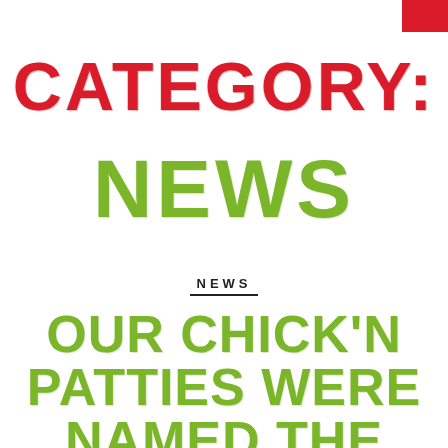[Figure (other): Red rectangle in top-right corner, decorative brand accent]
CATEGORY: NEWS
NEWS
OUR CHICK'N PATTIES WERE NAMED THE BEST VEGAN CHICKEN BURGERS IN THE